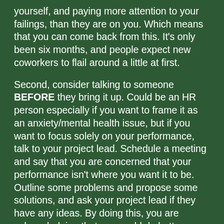yourself, and paying more attention to your failings, than they are on you. Which means that you can come back from this. It's only been six months, and people expect new coworkers to flail around a little at first.
Second, consider talking to someone BEFORE they bring it up. Could be an HR person especially if you want to frame it as an anxiety/mental health issue, but if you want to focus solely on your performance, talk to your project lead. Schedule a meeting and say that you are concerned that your performance isn't where you want it to be. Outline some problems and propose some solutions, and ask your project lead if they have any ideas. By doing this, you are acknowledging that you could do better, showing that you care and want to improve, and making a plan.
You mentioned you're at a big company. Do you have an EAP program? You can call and talk to someone there. They are trained to be very calm and sympathetic and it's